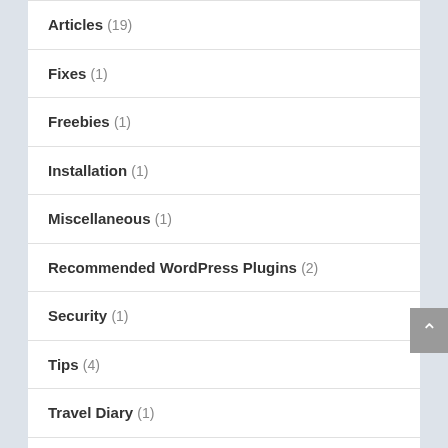Articles (19)
Fixes (1)
Freebies (1)
Installation (1)
Miscellaneous (1)
Recommended WordPress Plugins (2)
Security (1)
Tips (4)
Travel Diary (1)